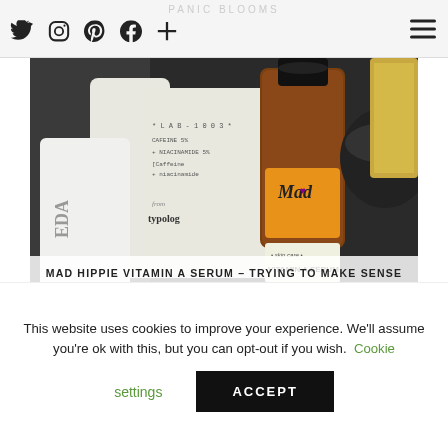Social icons: Twitter, Instagram, Pinterest, Facebook, Plus; Hamburger menu
[Figure (photo): Close-up photo of skincare products including a Mad Hippie Vitamin A Serum bottle with orange label, a Typology LAB-1003 Cafeine 5% + Niacinamide 5% product, an Aveda product, and other skincare items on a shelf]
MAD HIPPIE VITAMIN A SERUM – TRYING TO MAKE SENSE OF RETINOIDS!
[Figure (photo): Close-up of pink/red skincare product in white containers]
This website uses cookies to improve your experience. We'll assume you're ok with this, but you can opt-out if you wish. Cookie settings ACCEPT